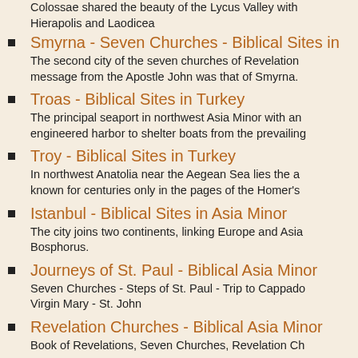Colossae shared the beauty of the Lycus Valley with Hierapolis and Laodicea
Smyrna - Seven Churches - Biblical Sites in [Turkey]
Troas - Biblical Sites in Turkey
Troy - Biblical Sites in Turkey
Istanbul - Biblical Sites in Asia Minor
Journeys of St. Paul - Biblical Asia Minor
Revelation Churches - Biblical Asia Minor
Intertestamental Period and Turkey
Philippi - Biblical Sites in Greece
Neapolis - Biblical Sites in Greece